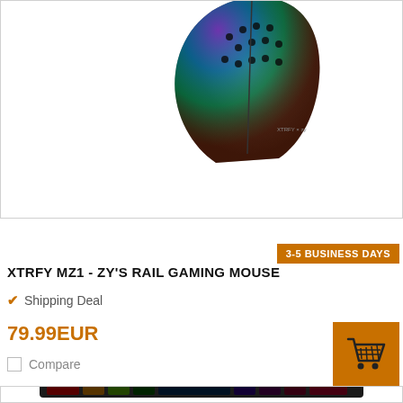[Figure (photo): Partial view of XTRFY MZ1 gaming mouse (black with RGB lighting) shown from above, with brand logos visible]
3-5 BUSINESS DAYS
XTRFY MZ1 - ZY'S RAIL GAMING MOUSE
✔ Shipping Deal
79.99EUR
[Figure (illustration): Shopping cart icon on orange background button]
Compare
[Figure (photo): Partial view of a gaming keyboard with RGB backlit keys shown from above, partially visible at the bottom of the page]